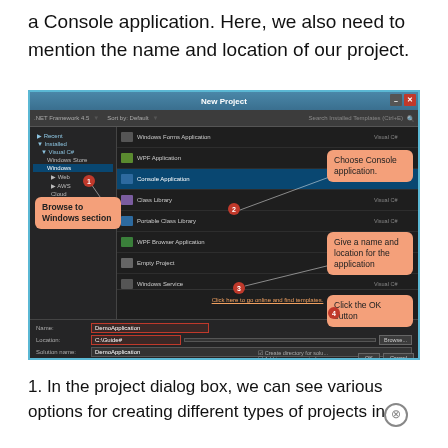a Console application. Here, we also need to mention the name and location of our project.
[Figure (screenshot): Visual Studio 'New Project' dialog box showing project templates including Console Application selected, with callout boxes: 'Browse to Windows section', 'Choose Console application.', 'Give a name and location for the application', 'Click the OK button'. Numbered circles 1-4 mark key areas. Bottom shows Name: DemoApplication, Location: C:\Guide#, Solution name: DemoApplication.]
1. In the project dialog box, we can see various options for creating different types of projects in